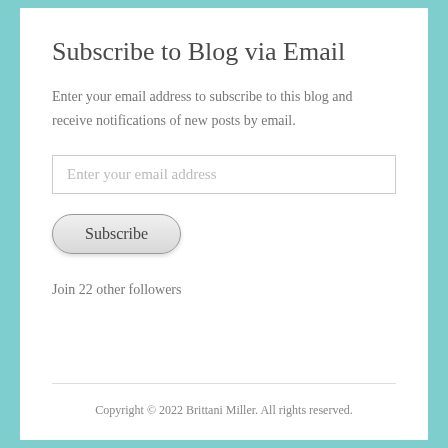Subscribe to Blog via Email
Enter your email address to subscribe to this blog and receive notifications of new posts by email.
Join 22 other followers
Copyright © 2022 Brittani Miller. All rights reserved.